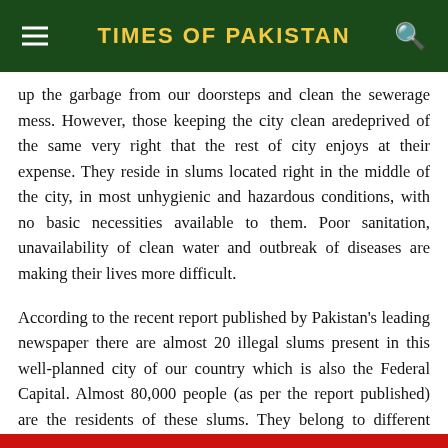TIMES OF PAKISTAN
up the garbage from our doorsteps and clean the sewerage mess. However, those keeping the city clean aredeprived of the same very right that the rest of city enjoys at their expense. They reside in slums located right in the middle of the city, in most unhygienic and hazardous conditions, with no basic necessities available to them. Poor sanitation, unavailability of clean water and outbreak of diseases are making their lives more difficult.
According to the recent report published by Pakistan's leading newspaper there are almost 20 illegal slums present in this well-planned city of our country which is also the Federal Capital. Almost 80,000 people (as per the report published) are the residents of these slums. They belong to different ethnic and religious groups but the majority is